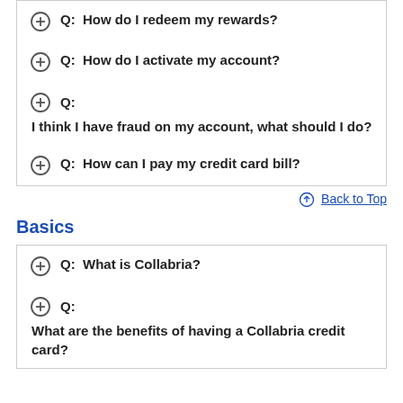Q: How do I redeem my rewards?
Q: How do I activate my account?
Q:
I think I have fraud on my account, what should I do?
Q: How can I pay my credit card bill?
Back to Top
Basics
Q: What is Collabria?
Q:
What are the benefits of having a Collabria credit card?